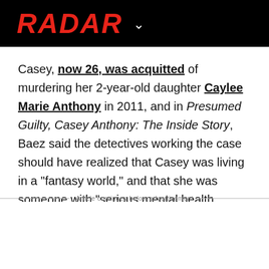RADAR
Casey, now 26, was acquitted of murdering her 2-year-old daughter Caylee Marie Anthony in 2011, and in Presumed Guilty, Casey Anthony: The Inside Story, Baez said the detectives working the case should have realized that Casey was living in a "fantasy world," and that she was someone with "serious mental health issues."
Article continues below advertisement